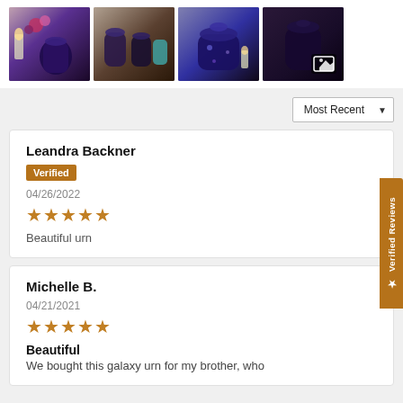[Figure (photo): Four thumbnail photos of decorative urns in dark purple/galaxy style with candles and flowers]
Most Recent ▼
Leandra Backner
Verified
04/26/2022
★★★★★

Beautiful urn
Michelle B.
04/21/2021
★★★★★

Beautiful
We bought this galaxy urn for my brother, who